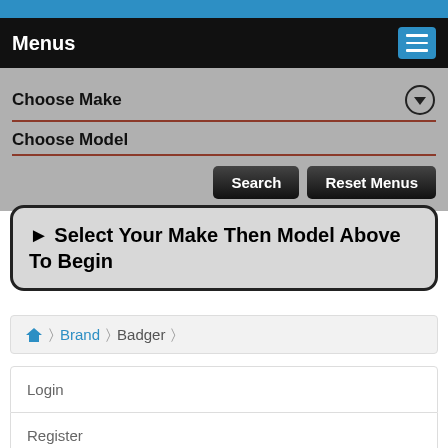Menus
Choose Make
Choose Model
Search  Reset Menus
▶ Select Your Make Then Model Above To Begin
🏠 > Brand > Badger
Login
Register
Forgotten Password